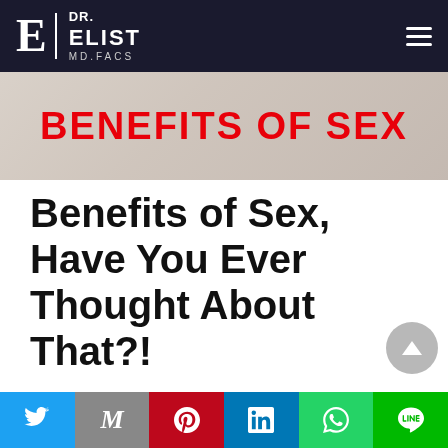Dr. Elist MD.FACS
[Figure (photo): Hero banner image with text BENEFITS OF SEX in red bold letters over a soft blurred background]
Benefits of Sex, Have You Ever Thought About That?!
Sex is an important part of human relationships and all of us pay more or less attention to fulfill the body's need for intimacy, close contact, and
Social share bar: Twitter, Gmail, Pinterest, LinkedIn, WhatsApp, Line